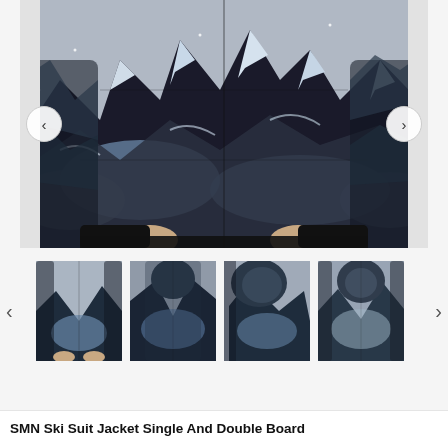[Figure (photo): Main product photo of SMN Ski Suit Jacket with all-over mountain/winter landscape print in dark blue, grey, black and white tones. Model wearing the jacket, showing front view with hands in pockets. Navigation arrows on left and right.]
[Figure (photo): Four thumbnail images of the jacket from different angles: front, back, side-hood, and alternate colorway. Navigation arrows on left and right sides of thumbnail row.]
SMN Ski Suit Jacket Single And Double Board